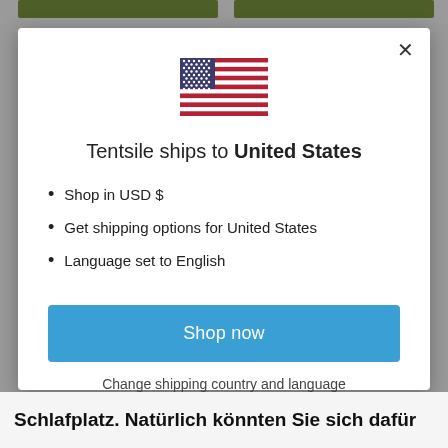[Figure (illustration): US flag SVG illustration centered in modal dialog]
Tentsile ships to United States
Shop in USD $
Get shipping options for United States
Language set to English
Shop now
Change shipping country and language
Schlafplatz. Natürlich könnten Sie sich dafür